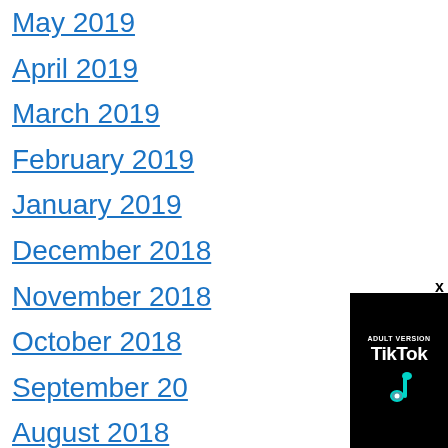May 2019
April 2019
March 2019
February 2019
January 2019
December 2018
November 2018
October 2018
September 20...
August 2018
July 2018
June 2018
May 2018
[Figure (photo): Advertisement overlay showing a woman taking a selfie on the left and 'ADULT VERSION TikTok' branding on a black background on the right, with an X close button]
x